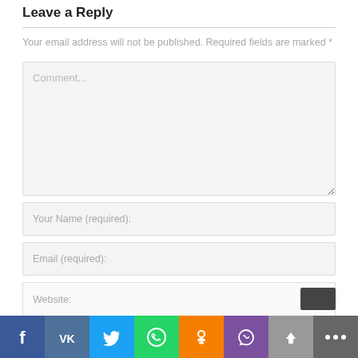Leave a Reply
Your email address will not be published. Required fields are marked *
Comment...
Your Name (required):
Email (required):
Website:
[Figure (infographic): Social share bar with icons: Facebook (blue), VK (steel blue), Twitter (sky blue), WhatsApp (green), Odnoklassniki (orange), Viber (purple), Up/arrow (gray), More/ellipsis (dark gray)]